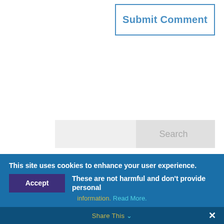Submit Comment
[Figure (screenshot): Search bar with 'Search' button placeholder on grey background]
Recent Blog Posts
[Figure (photo): Photo showing a Group Leisure & Travel circular badge/sign against a wooden wall backdrop]
This site uses cookies to enhance your user experience. Accept These are not harmful and don't provide personal information. Read More.
Share This